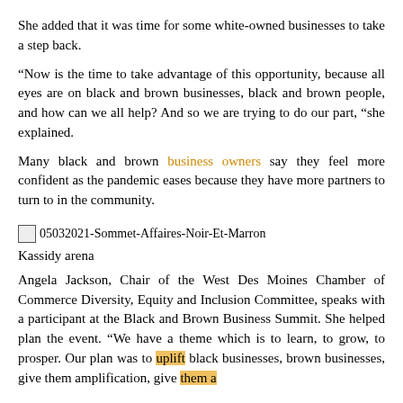She added that it was time for some white-owned businesses to take a step back.
“Now is the time to take advantage of this opportunity, because all eyes are on black and brown businesses, black and brown people, and how can we all help? And so we are trying to do our part, “she explained.
Many black and brown business owners say they feel more confident as the pandemic eases because they have more partners to turn to in the community.
[Figure (photo): Image placeholder: 05032021-Sommet-Affaires-Noir-Et-Marron]
Kassidy arena
Angela Jackson, Chair of the West Des Moines Chamber of Commerce Diversity, Equity and Inclusion Committee, speaks with a participant at the Black and Brown Business Summit. She helped plan the event. “We have a theme which is to learn, to grow, to prosper. Our plan was to uplift black businesses, brown businesses, give them amplification, give them a